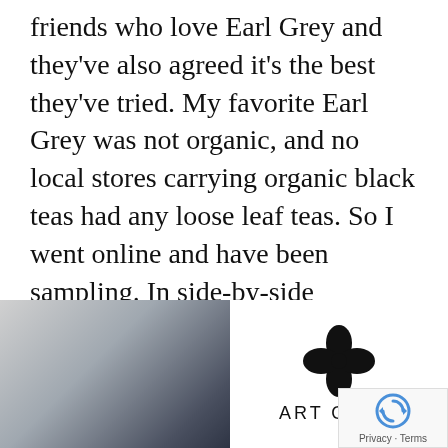friends who love Earl Grey and they've also agreed it's the best they've tried. My favorite Earl Grey was not organic, and no local stores carrying organic black teas had any loose leaf teas. So I went online and have been sampling. In side-by-side comparisons with my current (non-organic) favorite and other organic Earl Greys, the Art of Tea organic Earl Grey was vastly superior. Like getting a ripe juicy orange mashed on your face. (But with a smooth, mid-bodied black tea.) Highly recommended.
[Figure (photo): Photo of a person partially visible on the left side, with the Art of Tea logo (four-petal flower symbol above text reading ART OF TEA) on a white background on the right. A Google reCAPTCHA Privacy-Terms badge appears in the bottom right corner.]